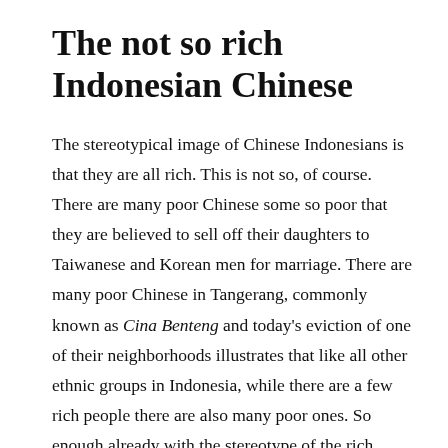The not so rich Indonesian Chinese
The stereotypical image of Chinese Indonesians is that they are all rich. This is not so, of course. There are many poor Chinese some so poor that they are believed to sell off their daughters to Taiwanese and Korean men for marriage. There are many poor Chinese in Tangerang, commonly known as Cina Benteng and today's eviction of one of their neighborhoods illustrates that like all other ethnic groups in Indonesia, while there are a few rich people there are also many poor ones. So enough already with the stereotype of the rich Chinese Indonesian.